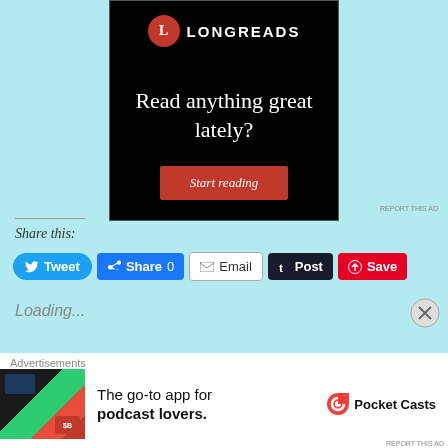[Figure (screenshot): Longreads advertisement banner with black background, red L logo, text 'Read anything great lately?' and a red 'Start reading' button]
REPORT THIS AD
Share this:
Tweet
Share 0
Email
Post
Save
Loading...
Advertisements
[Figure (screenshot): Pocket Casts advertisement: 'The go-to app for podcast lovers.' with Pocket Casts logo]
REPORT THIS AD